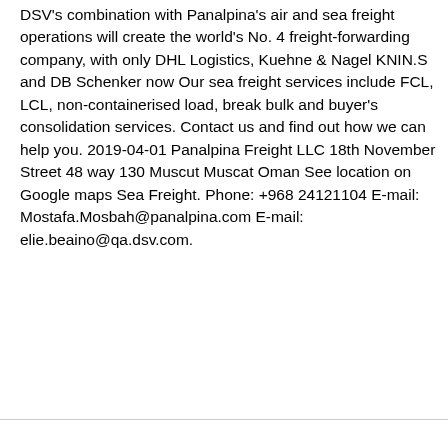DSV's combination with Panalpina's air and sea freight operations will create the world's No. 4 freight-forwarding company, with only DHL Logistics, Kuehne & Nagel KNIN.S and DB Schenker now Our sea freight services include FCL, LCL, non-containerised load, break bulk and buyer's consolidation services. Contact us and find out how we can help you. 2019-04-01 Panalpina Freight LLC 18th November Street 48 way 130 Muscut Muscat Oman See location on Google maps Sea Freight. Phone: +968 24121104 E-mail: Mostafa.Mosbah@panalpina.com E-mail: elie.beaino@qa.dsv.com.